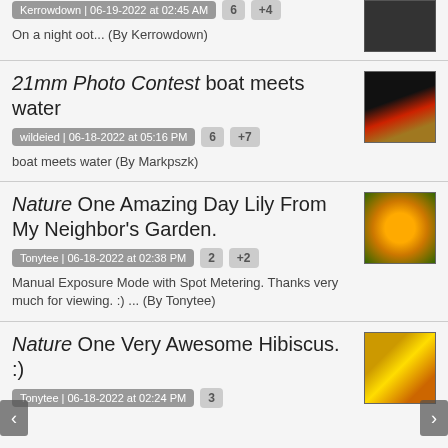Kerrowdown | 06-19-2022 at 02:45 AM  6  +4
On a night oot... (By Kerrowdown)
21mm Photo Contest boat meets water
wildeied | 06-18-2022 at 05:16 PM  6  +7
boat meets water (By Markpszk)
Nature One Amazing Day Lily From My Neighbor's Garden.
Tonytee | 06-18-2022 at 02:38 PM  2  +2
Manual Exposure Mode with Spot Metering. Thanks very much for viewing. :) ... (By Tonytee)
Nature One Very Awesome Hibiscus. :)
Tonytee | 06-18-2022 at 02:24 PM  3